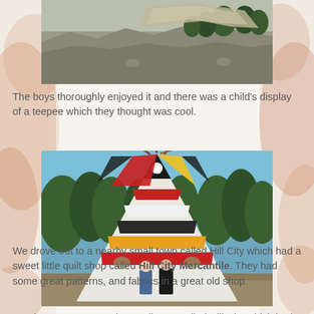[Figure (photo): Aerial or hillside photo showing rocky terrain with evergreen trees, likely near Mount Rushmore area]
The boys thoroughly enjoyed it and there was a child's display of a teepee which they thought was cool.
[Figure (photo): Two boys standing in front of a large colorful decorated teepee with red, yellow, black and white patterns, surrounded by pine trees]
We drove out to a nearby small town called Hill City which had a sweet little quilt shop called Hill City Mercantile. They had some great patterns, and fabrics in a great old shop.